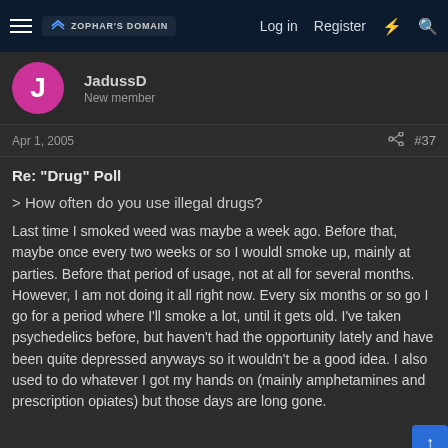Zophar's Domain — Log in   Register
JadussD
New member
Apr 1, 2005   #37
Re: "Drug" Poll
> How often do you use illegal drugs?
Last time I smoked weed was maybe a week ago. Before that, maybe once every two weeks or so I wouldl smoke up, mainly at parties. Before that period of usage, not at all for several months. However, I am not doing it all right now. Every six months or so go I go for a period where I'll smoke a lot, until it gets old. I've taken psychedelics before, but haven't had the opportunity lately and have been quite depressed anyways so it wouldn't be a good idea. I also used to do whatever I got my hands on (mainly amphetamines and prescription opiates) but those days are long gone.